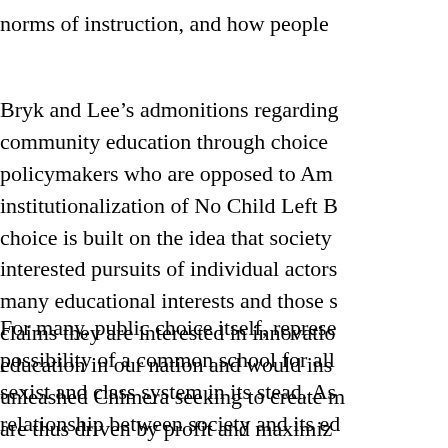norms of instruction, and how people

Bryk and Lee’s admonitions regarding community education through choice policymakers who are opposed to Am institutionalization of No Child Left B choice is built on the idea that society interested pursuits of individual actors many educational interests and those s claims they are interested in innovatio education in our nation and would ins unleashed Chimera seeking to create m are thus driven by profit and maximiz or education wedded to what it means

For many, public choice itself, represe possibility of a common school for all sexist and class system in its stead. As relationship between society and its ed commercial transaction, an exchange w competitive self-advantage. Seen in th